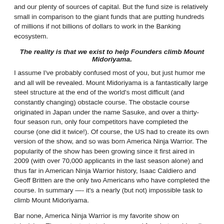and our plenty of sources of capital. But the fund size is relatively small in comparison to the giant funds that are putting hundreds of millions if not billions of dollars to work in the Banking ecosystem.
The reality is that we exist to help Founders climb Mount Midoriyama.
I assume I’ve probably confused most of you, but just humor me and all will be revealed. Mount Midoriyama is a fantastically large steel structure at the end of the world’s most difficult (and constantly changing) obstacle course. The obstacle course originated in Japan under the name Sasuke, and over a thirty-four season run, only four competitors have completed the course (one did it twice!). Of course, the US had to create its own version of the show, and so was born America Ninja Warrior. The popularity of the show has been growing since it first aired in 2009 (with over 70,000 applicants in the last season alone) and thus far in American Ninja Warrior history, Isaac Caldiero and Geoff Britten are the only two Americans who have completed the course. In summary —- it’s a nearly (but not) impossible task to climb Mount Midoriyama.
Bar none, America Ninja Warrior is my favorite show on television. The contestants train year-round for what could sadly be seconds on the course. A great year for a contestant might be conquering the obstacle that they fell on the previous year. Or it might be making it farther than they did in the past. Or it might be to just go out and “represent”. Success means different things to different Warriors.